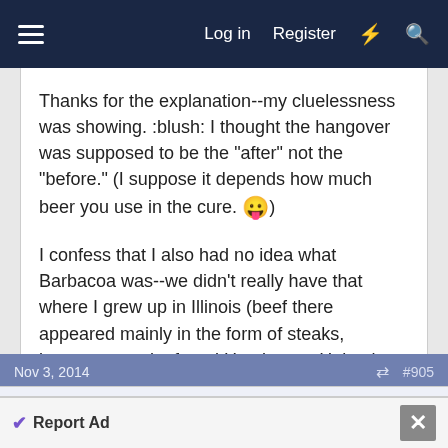Log in  Register
Thanks for the explanation--my cluelessness was showing. :blush: I thought the hangover was supposed to be the "after" not the "before." (I suppose it depends how much beer you use in the cure. 😛)

I confess that I also had no idea what Barbacoa was--we didn't really have that where I grew up in Illinois (beef there appeared mainly in the form of steaks, burgers, meatloaf, and Hamburger Helper)--but it sounds scrumptious! :eat2:
Nov 3, 2014  #905
Treach
Well-Known Member
Report Ad